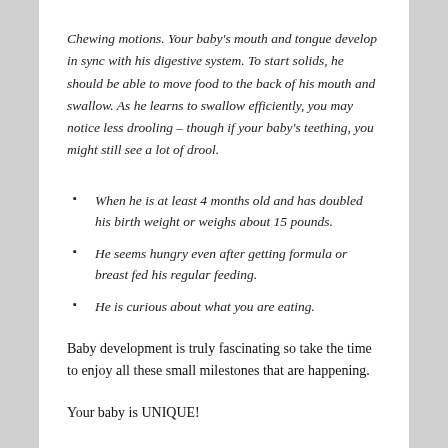Chewing motions. Your baby's mouth and tongue develop in sync with his digestive system. To start solids, he should be able to move food to the back of his mouth and swallow. As he learns to swallow efficiently, you may notice less drooling – though if your baby's teething, you might still see a lot of drool.
When he is at least 4 months old and has doubled his birth weight or weighs about 15 pounds.
He seems hungry even after getting formula or breast fed his regular feeding.
He is curious about what you are eating.
Baby development is truly fascinating so take the time to enjoy all these small milestones that are happening.
Your baby is UNIQUE!